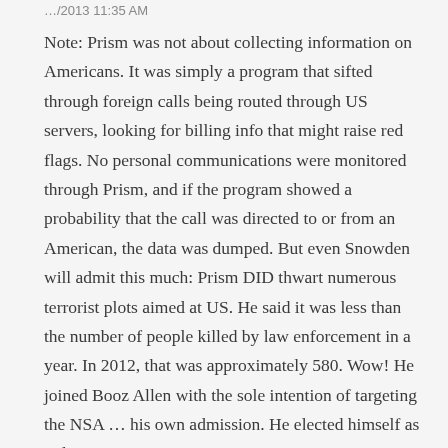…/2013 11:35 AM
Note: Prism was not about collecting information on Americans. It was simply a program that sifted through foreign calls being routed through US servers, looking for billing info that might raise red flags. No personal communications were monitored through Prism, and if the program showed a probability that the call was directed to or from an American, the data was dumped. But even Snowden will admit this much: Prism DID thwart numerous terrorist plots aimed at US. He said it was less than the number of people killed by law enforcement in a year. In 2012, that was approximately 580. Wow! He joined Booz Allen with the sole intention of targeting the NSA … his own admission. He elected himself as judge